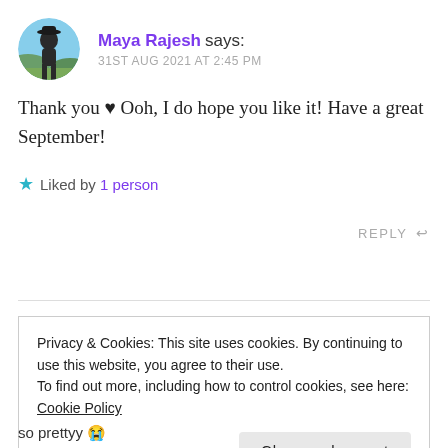Maya Rajesh says:
31ST AUG 2021 AT 2:45 PM
Thank you ♥ Ooh, I do hope you like it! Have a great September!
★ Liked by 1 person
REPLY ↩
Privacy & Cookies: This site uses cookies. By continuing to use this website, you agree to their use.
To find out more, including how to control cookies, see here: Cookie Policy
Close and accept
so prettyy 😭